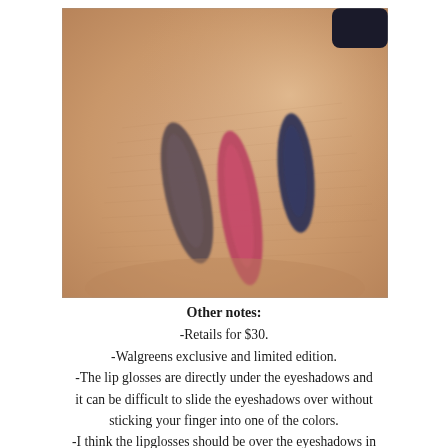[Figure (photo): A close-up photo of a hand/wrist showing three color swatches: a dark brownish-grey on the left, a pink/red in the center, and a dark navy blue on the right, swatched on skin.]
Other notes: -Retails for $30. -Walgreens exclusive and limited edition. -The lip glosses are directly under the eyeshadows and it can be difficult to slide the eyeshadows over without sticking your finger into one of the colors. -I think the lipglosses should be over the eyeshadows in